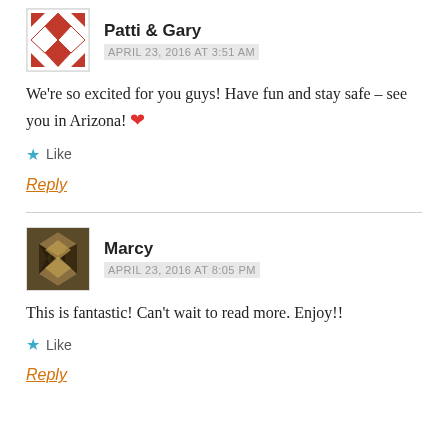[Figure (illustration): Avatar image for Patti & Gary - quilt pattern in red and white]
Patti & Gary
APRIL 23, 2016 AT 3:51 AM
We're so excited for you guys! Have fun and stay safe – see you in Arizona! ❤
★ Like
Reply
[Figure (illustration): Avatar image for Marcy - geometric diamond quilt pattern in dark brown/black]
Marcy
APRIL 23, 2016 AT 8:05 PM
This is fantastic! Can't wait to read more. Enjoy!!
★ Like
Reply